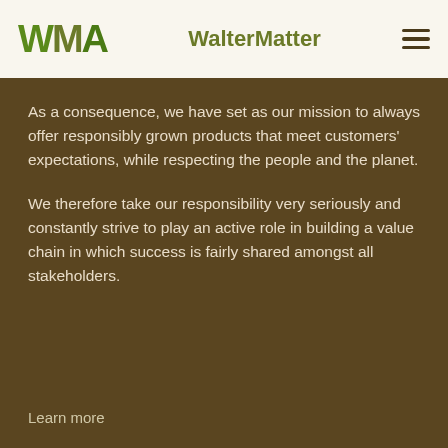[Figure (logo): WMA logo with stylized letters W, M, A in green/olive tones]
WalterMatter
As a consequence, we have set as our mission to always offer responsibly grown products that meet customers' expectations, while respecting the people and the planet.
We therefore take our responsibility very seriously and constantly strive to play an active role in building a value chain in which success is fairly shared amongst all stakeholders.
Learn more